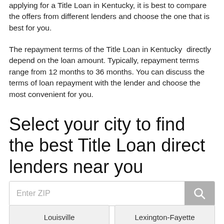applying for a Title Loan in Kentucky, it is best to compare the offers from different lenders and choose the one that is best for you.
The repayment terms of the Title Loan in Kentucky directly depend on the loan amount. Typically, repayment terms range from 12 months to 36 months. You can discuss the terms of loan repayment with the lender and choose the most convenient for you.
Select your city to find the best Title Loan direct lenders near you
[Figure (other): ZIP code search input box with search icon button]
[Figure (other): City selection buttons: Louisville and Lexington-Fayette]